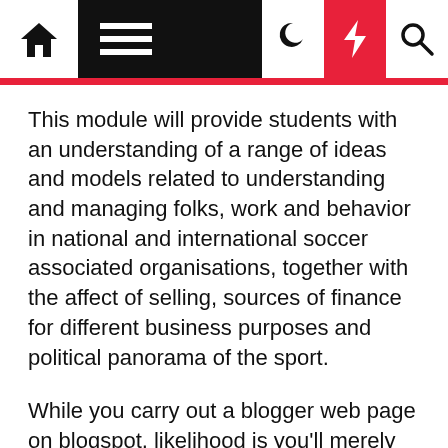[Figure (screenshot): Website navigation bar with home icon, hamburger menu on black background, moon icon, red lightning bolt icon, and search icon]
This module will provide students with an understanding of a range of ideas and models related to understanding and managing folks, work and behavior in national and international soccer associated organisations, together with the affect of selling, sources of finance for different business purposes and political panorama of the sport.
While you carry out a blogger web page on blogspot, likelihood is you'll merely improve your prospects' engagement by along with curiosity, glamour and quite a few content provides to your pages. When we started on TurboTax Free File as an alternative of TurboTax Army and entered the same knowledge, the submitting experience was just about an identical, with two primary variations: We